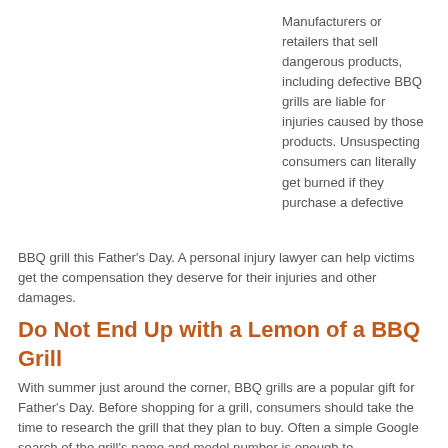Manufacturers or retailers that sell dangerous products, including defective BBQ grills are liable for injuries caused by those products. Unsuspecting consumers can literally get burned if they purchase a defective BBQ grill this Father's Day. A personal injury lawyer can help victims get the compensation they deserve for their injuries and other damages.
Do Not End Up with a Lemon of a BBQ Grill
With summer just around the corner, BBQ grills are a popular gift for Father's Day. Before shopping for a grill, consumers should take the time to research the grill that they plan to buy. Often a simple Google search of the grill's name and model number is enough to